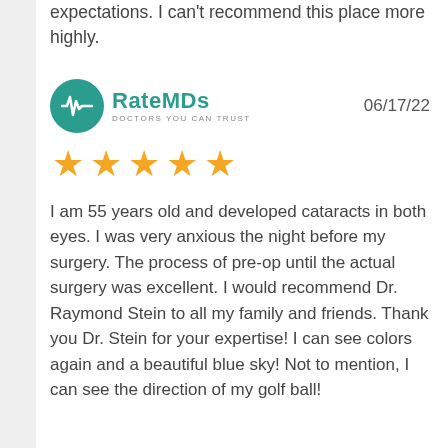expectations. I can't recommend this place more highly.
[Figure (logo): RateMDs logo with teal circle containing a heartbeat/pulse line icon, text 'RateMDs' in teal and tagline 'DOCTORS YOU CAN TRUST']
06/17/22
[Figure (other): 5 gold star rating icons]
I am 55 years old and developed cataracts in both eyes. I was very anxious the night before my surgery. The process of pre-op until the actual surgery was excellent. I would recommend Dr. Raymond Stein to all my family and friends. Thank you Dr. Stein for your expertise! I can see colors again and a beautiful blue sky! Not to mention, I can see the direction of my golf ball!